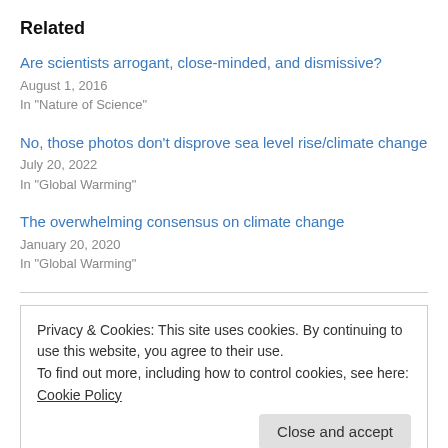Related
Are scientists arrogant, close-minded, and dismissive?
August 1, 2016
In "Nature of Science"
No, those photos don't disprove sea level rise/climate change
July 20, 2022
In "Global Warming"
The overwhelming consensus on climate change
January 20, 2020
In "Global Warming"
Privacy & Cookies: This site uses cookies. By continuing to use this website, you agree to their use. To find out more, including how to control cookies, see here: Cookie Policy